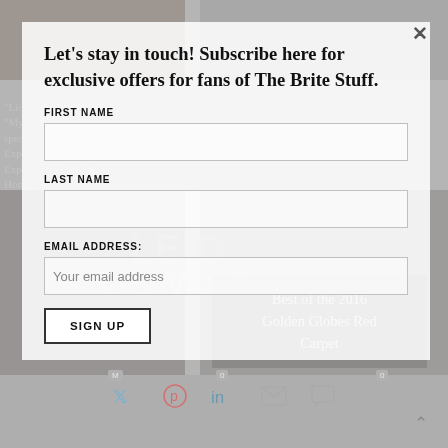[Figure (screenshot): Website subscription modal overlay on top of a blurred content page with photo grid background showing entertainment/film content]
Let's stay in touch! Subscribe here for exclusive offers for fans of The Brite Stuff.
FIRST NAME
LAST NAME
EMAIL ADDRESS:
Your email address
SIGN UP